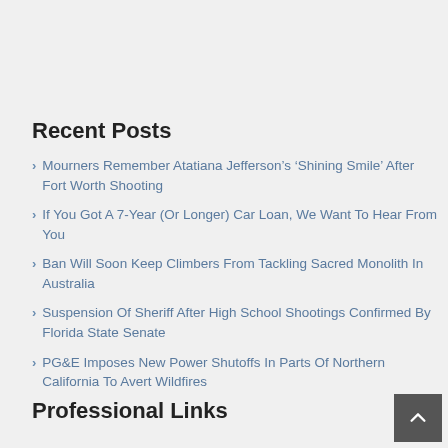Recent Posts
Mourners Remember Atatiana Jefferson's 'Shining Smile' After Fort Worth Shooting
If You Got A 7-Year (Or Longer) Car Loan, We Want To Hear From You
Ban Will Soon Keep Climbers From Tackling Sacred Monolith In Australia
Suspension Of Sheriff After High School Shootings Confirmed By Florida State Senate
PG&E Imposes New Power Shutoffs In Parts Of Northern California To Avert Wildfires
Professional Links